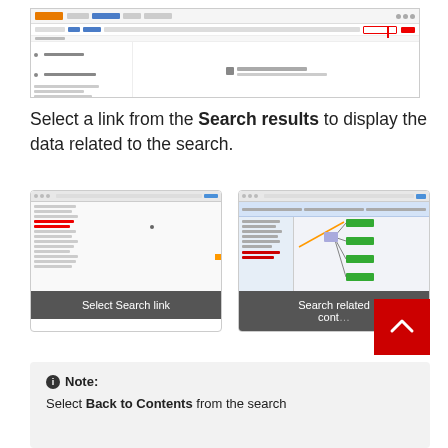[Figure (screenshot): Screenshot of a documentation website with navigation bar, sidebar, and main content area showing a welcome/search state]
Select a link from the Search results to display the data related to the search.
[Figure (screenshot): Screenshot showing a document/text list view with red highlighted rows, labeled 'Select Search link']
[Figure (screenshot): Screenshot showing a documentation page with a diagram of green node boxes, labeled 'Search related cont...']
ⓘ Note:
Select Back to Contents from the search